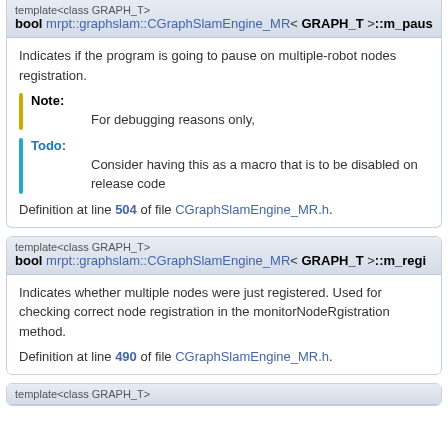template<class GRAPH_T>
bool mrpt::graphslam::CGraphSlamEngine_MR< GRAPH_T >::m_paus...
Indicates if the program is going to pause on multiple-robot nodes registration.
Note: For debugging reasons only,
Todo: Consider having this as a macro that is to be disabled on release code
Definition at line 504 of file CGraphSlamEngine_MR.h.
template<class GRAPH_T>
bool mrpt::graphslam::CGraphSlamEngine_MR< GRAPH_T >::m_regi...
Indicates whether multiple nodes were just registered. Used for checking correct node registration in the monitorNodeRgistration method.
Definition at line 490 of file CGraphSlamEngine_MR.h.
template<class GRAPH_T>